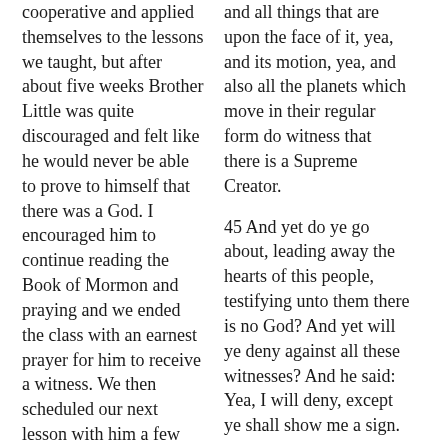cooperative and applied themselves to the lessons we taught, but after about five weeks Brother Little was quite discouraged and felt like he would never be able to prove to himself that there was a God. I encouraged him to continue reading the Book of Mormon and praying and we ended the class with an earnest prayer for him to receive a witness. We then scheduled our next lesson with him a few days hence.
I felt a strong link with Brother Little and from the beginning I thought this was a sign that he would be converted. He seemed rather negative on our last meeting and for a few days it seemed as if we would lose
and all things that are upon the face of it, yea, and its motion, yea, and also all the planets which move in their regular form do witness that there is a Supreme Creator.
45 And yet do ye go about, leading away the hearts of this people, testifying unto them there is no God? And yet will ye deny against all these witnesses? And he said: Yea, I will deny, except ye shall show me a sign.
46 And now it came to pass that Alma said unto him: Behold, I am grieved because of the hardness of your heart, yea, that ye will still resist the spirit of the truth, that thy soul may be destroyed.
47 But behold, it is better that